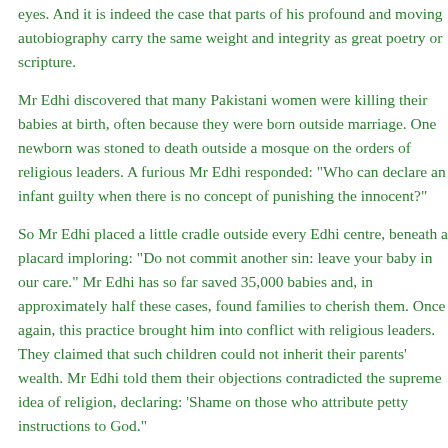eyes. And it is indeed the case that parts of his profound and moving autobiography carry the same weight and integrity as great poetry or scripture.
Mr Edhi discovered that many Pakistani women were killing their babies at birth, often because they were born outside marriage. One newborn was stoned to death outside a mosque on the orders of religious leaders. A furious Mr Edhi responded: "Who can declare an infant guilty when there is no concept of punishing the innocent?"
So Mr Edhi placed a little cradle outside every Edhi centre, beneath a placard imploring: "Do not commit another sin: leave your baby in our care." Mr Edhi has so far saved 35,000 babies and, in approximately half these cases, found families to cherish them. Once again, this practice brought him into conflict with religious leaders. They claimed that such children could not inherit their parents' wealth. Mr Edhi told them their objections contradicted the supreme idea of religion, declaring: 'Shame on those who attribute petty instructions to God.'
Over time, Mr Edhi came to exercise such a vast moral authority over Pakistan's competing political and religious groups. In 1992, C...